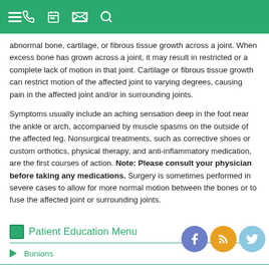Navigation bar with menu, phone, calendar, map, and search icons
abnormal bone, cartilage, or fibrous tissue growth across a joint. When excess bone has grown across a joint, it may result in restricted or a complete lack of motion in that joint. Cartilage or fibrous tissue growth can restrict motion of the affected joint to varying degrees, causing pain in the affected joint and/or in surrounding joints.
Symptoms usually include an aching sensation deep in the foot near the ankle or arch, accompanied by muscle spasms on the outside of the affected leg. Nonsurgical treatments, such as corrective shoes or custom orthotics, physical therapy, and anti-inflammatory medication, are the first courses of action. Note: Please consult your physician before taking any medications. Surgery is sometimes performed in severe cases to allow for more normal motion between the bones or to fuse the affected joint or surrounding joints.
Patient Education Menu
Bunions
Diabetic Care
Heel Pain
Hammertoes